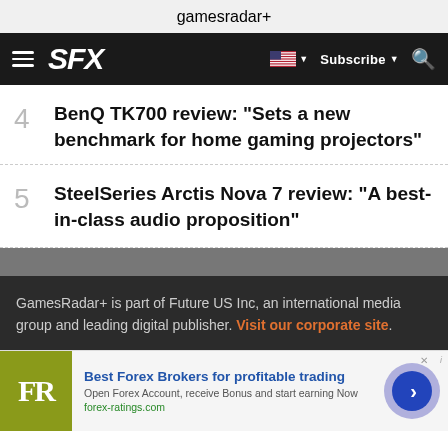gamesradar+
SFX  Subscribe
4  BenQ TK700 review: "Sets a new benchmark for home gaming projectors"
5  SteelSeries Arctis Nova 7 review: "A best-in-class audio proposition"
GamesRadar+ is part of Future US Inc, an international media group and leading digital publisher. Visit our corporate site.
[Figure (screenshot): Advertisement banner for forex-ratings.com showing FR logo, headline 'Best Forex Brokers for profitable trading', description text, and a blue arrow button.]